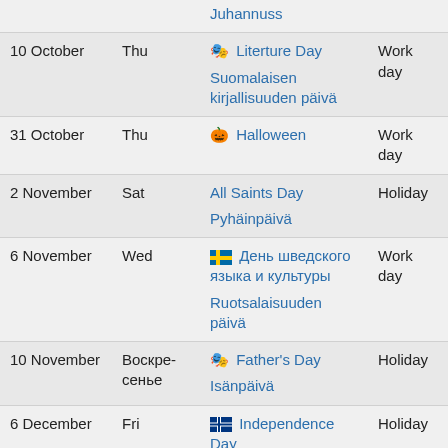| Date | Day | Holiday | Type |
| --- | --- | --- | --- |
|  |  | Juhannuss |  |
| 10 October | Thu | 🎭 Literture Day
Suomalaisen kirjallisuuden päivä | Work day |
| 31 October | Thu | 🎃 Halloween | Work day |
| 2 November | Sat | All Saints Day
Pyhäinpäivä | Holiday |
| 6 November | Wed | 🇸🇪 День шведского языка и культуры
Ruotsalaisuuden päivä | Work day |
| 10 November | Воскресенье | 🎭 Father's Day
Isänpäivä | Holiday |
| 6 December | Fri | 🇫🇮 Independence Day
Itsenäisyyspäivä | Holiday |
| 24 December | Tuesday | 🎭 Christmas Eve
Jouluaattona | Holiday |
| 25 |  | 🎭 Christmas |  |